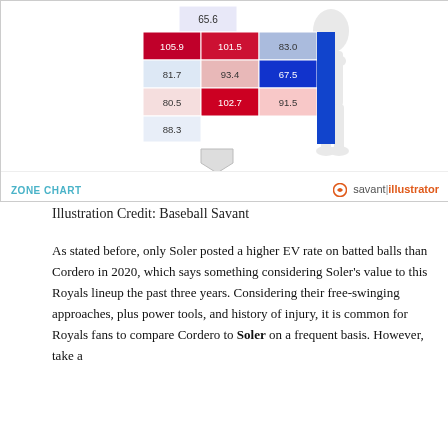[Figure (infographic): Baseball Savant zone chart showing exit velocity values in a 3x4 grid overlaid on a strike zone diagram with a batter silhouette. Values include 65.6 (top), 105.9, 101.5, 83.0 (row 2), 81.7, 93.4, 67.5 (row 3), 80.5, 102.7, 91.5 (row 4), 88.3 (bottom left). Cells colored in red/blue/pink heat-map style. Home plate shown below.]
Illustration Credit: Baseball Savant
As stated before, only Soler posted a higher EV rate on batted balls than Cordero in 2020, which says something considering Soler's value to this Royals lineup the past three years. Considering their free-swinging approaches, plus power tools, and history of injury, it is common for Royals fans to compare Cordero to Soler on a frequent basis. However, take a look at Soler's EV zone chart from 2017, which was his...